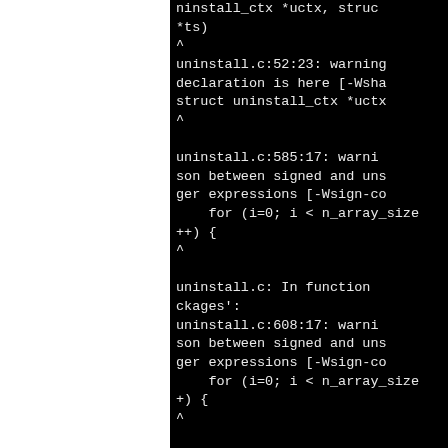ninstall_ctx *uctx, struc
*ts)
^
uninstall.c:52:23: warning
declaration is here [-Wsha
struct uninstall_ctx *uctx
^

uninstall.c:585:17: warni
son between signed and uns
ger expressions [-Wsign-co
    for (i=0; i < n_array_size
++) {
^

uninstall.c: In function 
ckages':
uninstall.c:608:17: warni
son between signed and uns
ger expressions [-Wsign-co
    for (i=0; i < n_array_size
+) {
^

uninstall.c: In function 
ts_uninstall':
uninstall.c:633:27: warni